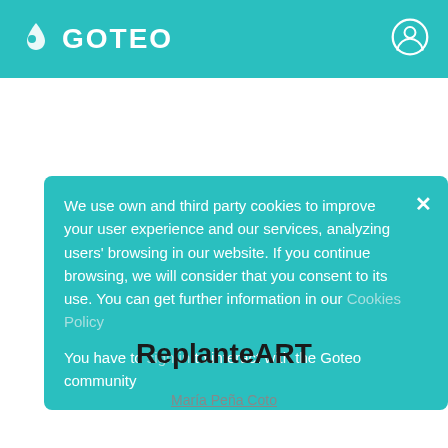GOTEO
We use own and third party cookies to improve your user experience and our services, analyzing users' browsing in our website. If you continue browsing, we will consider that you consent to its use. You can get further information in our Cookies Policy
You have to sign in to interact with the Goteo community
ReplanteART
María Peña Coto